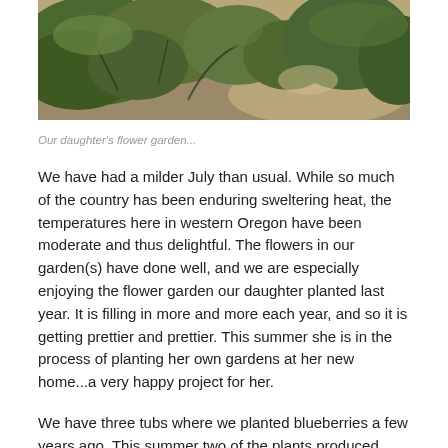[Figure (photo): Outdoor garden photo showing green plants and foliage with soil/dirt path visible in the background]
Our daughter's flower garden...
We have had a milder July than usual. While so much of the country has been enduring sweltering heat, the temperatures here in western Oregon have been moderate and thus delightful. The flowers in our garden(s) have done well, and we are especially enjoying the flower garden our daughter planted last year. It is filling in more and more each year, and so it is getting prettier and prettier. This summer she is in the process of planting her own gardens at her new home...a very happy project for her.
We have three tubs where we planted blueberries a few years ago. This summer two of the plants produced masses of blueberries! One little plant didn't have any blueberries at all,